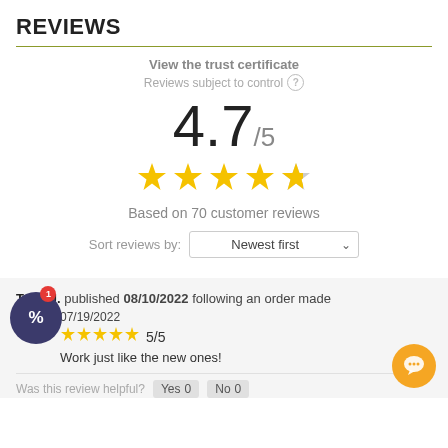REVIEWS
View the trust certificate
Reviews subject to control
4.7/5
Based on 70 customer reviews
Sort reviews by: Newest first
Tyler J. published 08/10/2022 following an order made 07/19/2022
5/5
Work just like the new ones!
Was this review helpful? Yes 0 No 0